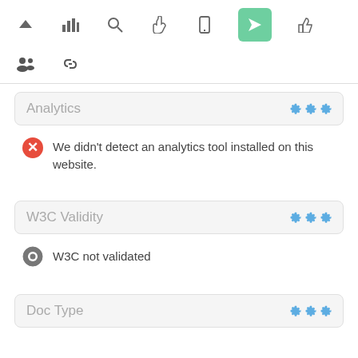[Figure (screenshot): Top toolbar with icons: up arrow, bar chart, search, hand/cursor, mobile, active share/send (green background), thumb up]
[Figure (screenshot): Second toolbar row with people/group icon and chain/link icon]
Analytics
We didn't detect an analytics tool installed on this website.
W3C Validity
W3C not validated
Doc Type